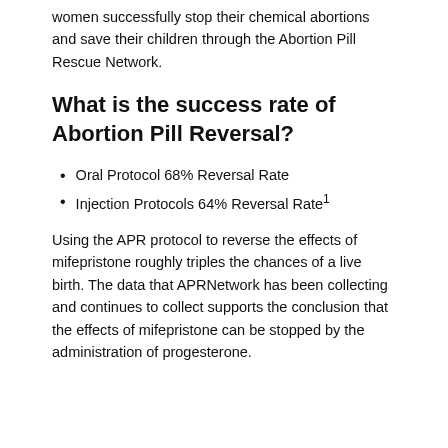women successfully stop their chemical abortions and save their children through the Abortion Pill Rescue Network.
What is the success rate of Abortion Pill Reversal?
Oral Protocol 68% Reversal Rate
Injection Protocols 64% Reversal Rate¹
Using the APR protocol to reverse the effects of mifepristone roughly triples the chances of a live birth. The data that APRNetwork has been collecting and continues to collect supports the conclusion that the effects of mifepristone can be stopped by the administration of progesterone.